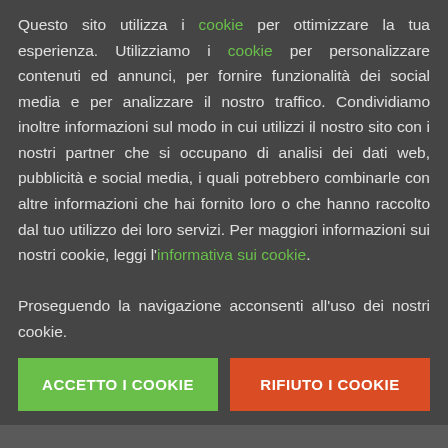Questo sito utilizza i cookie per ottimizzare la tua esperienza. Utilizziamo i cookie per personalizzare contenuti ed annunci, per fornire funzionalità dei social media e per analizzare il nostro traffico. Condividiamo inoltre informazioni sul modo in cui utilizzi il nostro sito con i nostri partner che si occupano di analisi dei dati web, pubblicità e social media, i quali potrebbero combinarle con altre informazioni che hai fornito loro o che hanno raccolto dal tuo utilizzo dei loro servizi. Per maggiori informazioni sui nostri cookie, leggi l'informativa sui cookie. Proseguendo la navigazione acconsenti all'uso dei nostri cookie.
ACCETTO I COOKIE
RIFIUTO I COOKIE